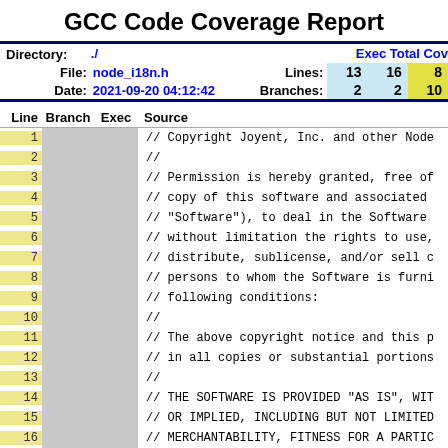GCC Code Coverage Report
| Directory: | ./ |  | Exec | Total | Cov |
| --- | --- | --- | --- | --- | --- |
| File: | node_i18n.h | Lines: | 13 | 16 | 8? |
| Date: | 2021-09-20 04:12:42 | Branches: | 2 | 2 | 10? |
| Line | Branch | Exec | Source |
| --- | --- | --- | --- |
| 1 |  |  | // Copyright Joyent, Inc. and other Node |
| 2 |  |  | // |
| 3 |  |  | // Permission is hereby granted, free of |
| 4 |  |  | // copy of this software and associated |
| 5 |  |  | // "Software"), to deal in the Software |
| 6 |  |  | // without limitation the rights to use, |
| 7 |  |  | // distribute, sublicense, and/or sell c |
| 8 |  |  | // persons to whom the Software is furni |
| 9 |  |  | // following conditions: |
| 10 |  |  | // |
| 11 |  |  | // The above copyright notice and this p |
| 12 |  |  | // in all copies or substantial portions |
| 13 |  |  | // |
| 14 |  |  | // THE SOFTWARE IS PROVIDED "AS IS", WIT |
| 15 |  |  | // OR IMPLIED, INCLUDING BUT NOT LIMITED |
| 16 |  |  | // MERCHANTABILITY, FITNESS FOR A PARTIC |
| 17 |  |  | // NO EVENT SHALL THE AUTHORS OR COPYRIG |